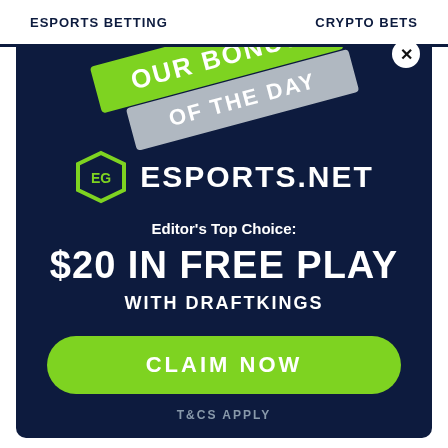ESPORTS BETTING   CRYPTO BETS
[Figure (illustration): Diagonal banner ribbon with 'OUR BONUS OF THE DAY' text in green and grey]
[Figure (logo): Esports.net logo with hexagon icon and text ESPORTS.NET]
Editor's Top Choice:
$20 IN FREE PLAY
WITH DRAFTKINGS
CLAIM NOW
T&CS APPLY